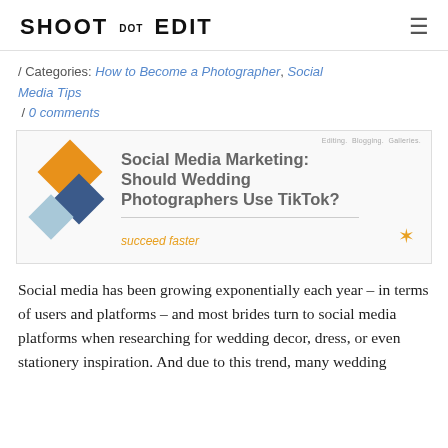SHOOT DOT EDIT
/ Categories: How to Become a Photographer, Social Media Tips
 / 0 comments
[Figure (illustration): Featured blog post image with three overlapping diamond shapes (orange, dark blue, light blue) on left, and bold text reading 'Social Media Marketing: Should Wedding Photographers Use TikTok?' with tagline 'succeed faster' and a small running figure icon. Small text in top right: 'Editing. Blogging. Galleries.']
Social media has been growing exponentially each year – in terms of users and platforms – and most brides turn to social media platforms when researching for wedding decor, dress, or even stationery inspiration. And due to this trend, many wedding